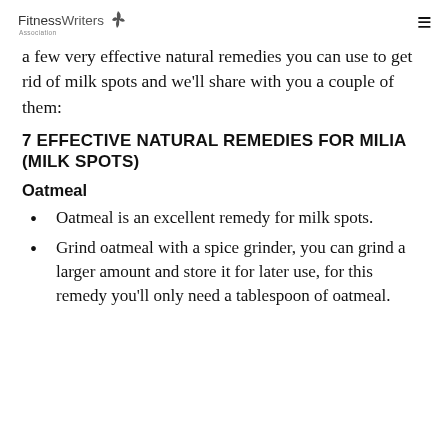FitnessWriters Association
a few very effective natural remedies you can use to get rid of milk spots and we'll share with you a couple of them:
7 EFFECTIVE NATURAL REMEDIES FOR MILIA (MILK SPOTS)
Oatmeal
Oatmeal is an excellent remedy for milk spots.
Grind oatmeal with a spice grinder, you can grind a larger amount and store it for later use, for this remedy you'll only need a tablespoon of oatmeal.